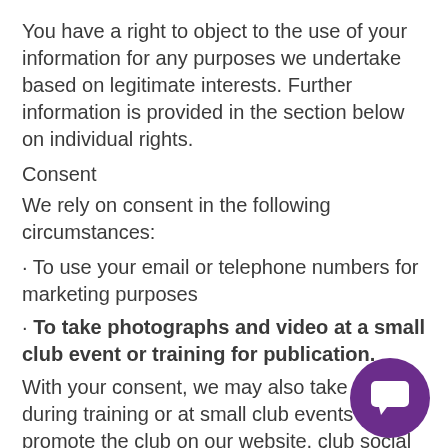You have a right to object to the use of your information for any purposes we undertake based on legitimate interests. Further information is provided in the section below on individual rights.
Consent
We rely on consent in the following circumstances:
· To use your email or telephone numbers for marketing purposes
· To take photographs and video at a small club event or training for publication.
With your consent, we may also take photos during training or at small club events to promote the club on our website, club social media account and in communications. All fi and photos of children will be published i with our safeguarding policy.
When you have given us your consent for your